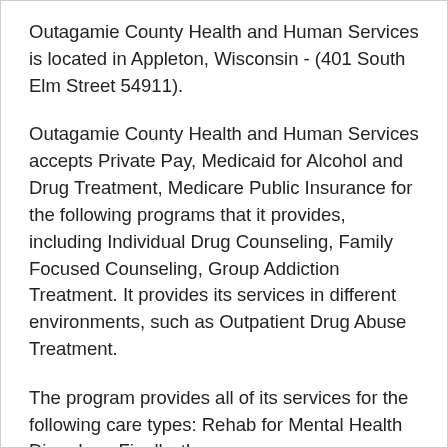Outagamie County Health and Human Services is located in Appleton, Wisconsin - (401 South Elm Street 54911).
Outagamie County Health and Human Services accepts Private Pay, Medicaid for Alcohol and Drug Treatment, Medicare Public Insurance for the following programs that it provides, including Individual Drug Counseling, Family Focused Counseling, Group Addiction Treatment. It provides its services in different environments, such as Outpatient Drug Abuse Treatment.
The program provides all of its services for the following care types: Rehab for Mental Health Disorders. Finally, the program...